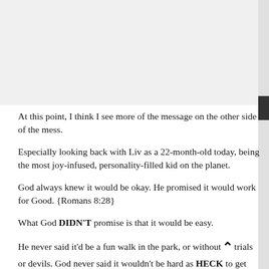[Figure (other): Top portion of page showing a light gray image/photo area (partially visible)]
At this point, I think I see more of the message on the other side of the mess.
Especially looking back with Liv as a 22-month-old today, being the most joy-infused, personality-filled kid on the planet.
God always knew it would be okay. He promised it would work for Good. {Romans 8:28}
What God DIDN'T promise is that it would be easy.
He never said it'd be a fun walk in the park, or without trials or devils. God never said it wouldn't be hard as HECK to get there.